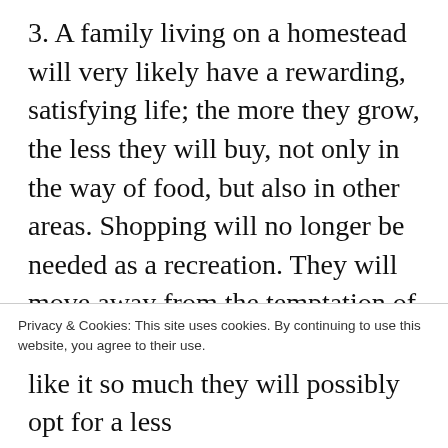3. A family living on a homestead will very likely have a rewarding, satisfying life; the more they grow, the less they will buy, not only in the way of food, but also in other areas. Shopping will no longer be needed as a recreation. They will move away from the temptation of big stores and shopping centers. In the evening, they will hurry home to milk their goats and water their tomatoes. Such people, for psychological and logistic reasons, are more likely to buy only what they need, which means the government
Privacy & Cookies: This site uses cookies. By continuing to use this website, you agree to their use.
To find out more, including how to control cookies, see here:
Cookie Policy
Close and accept
like it so much they will possibly opt for a less